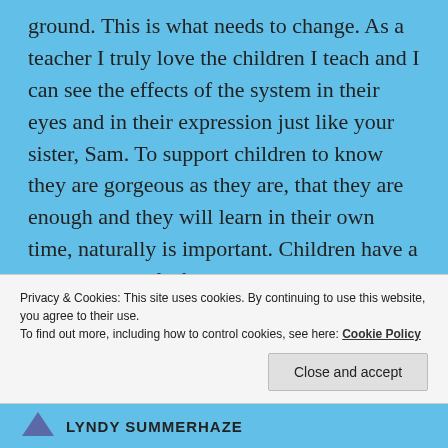ground. This is what needs to change. As a teacher I truly love the children I teach and I can see the effects of the system in their eyes and in their expression just like your sister, Sam. To support children to know they are gorgeous as they are, that they are enough and they will learn in their own time, naturally is important. Children have a love and joy of life, they love to learn, but this can be dulled as early as 6yrs or 7yrs. What if we supported students to remain in this openness all through their education?
Privacy & Cookies: This site uses cookies. By continuing to use this website, you agree to their use.
To find out more, including how to control cookies, see here: Cookie Policy
Close and accept
LYNDY SUMMERHAZE